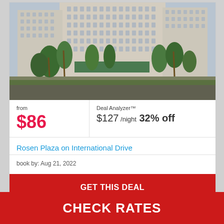[Figure (photo): Exterior photo of Rosen Plaza hotel on International Drive, showing a tall beige multi-story hotel tower with palm trees and green landscaping in the foreground.]
from
$86
Deal Analyzer™
$127 /night 32% off
Rosen Plaza on International Drive
book by: Aug 21, 2022
GET THIS DEAL
CHECK RATES